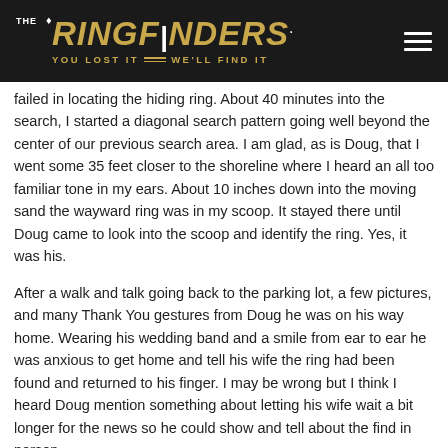[Figure (logo): The Ring Finders logo with tagline 'YOU LOST IT — WE'LL FIND IT' on black background, with hamburger menu icon on right]
failed in locating the hiding ring. About 40 minutes into the search, I started a diagonal search pattern going well beyond the center of our previous search area. I am glad, as is Doug, that I went some 35 feet closer to the shoreline where I heard an all too familiar tone in my ears. About 10 inches down into the moving sand the wayward ring was in my scoop. It stayed there until Doug came to look into the scoop and identify the ring. Yes, it was his.
After a walk and talk going back to the parking lot, a few pictures, and many Thank You gestures from Doug he was on his way home. Wearing his wedding band and a smile from ear to ear he was anxious to get home and tell his wife the ring had been found and returned to his finger. I may be wrong but I think I heard Doug mention something about letting his wife wait a bit longer for the news so he could show and tell about the find in person.
Leighton and I both felt much better than about 2 hours before. Earlier we had not given up on searching for the other ring we were searching for. We just needed to rethink our search technique, change our detectors and their coil size and return another day to continue the search...We Never Give Up Hope!